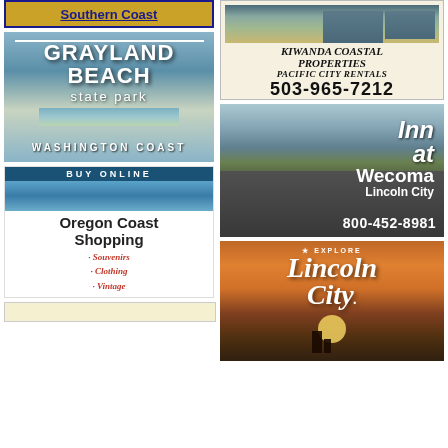Southern Coast
[Figure (illustration): Grayland Beach State Park - Washington Coast ad with beach/ocean background]
[Figure (illustration): Kiwanda Coastal Properties - Pacific City Rentals ad with coastal homes photo, phone 503-965-7212]
[Figure (illustration): Buy Online - Oregon Coast Shopping ad featuring Souvenirs, Clothing, Vintage]
[Figure (illustration): Inn at Wecoma Lincoln City ad with phone 800-452-8981]
[Figure (illustration): Explore Lincoln City ad with sunset beach silhouette]